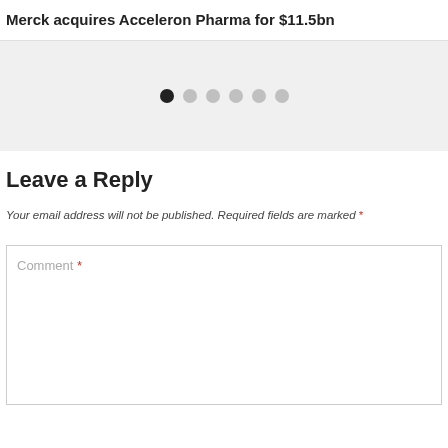Merck acquires Acceleron Pharma for $11.5bn
[Figure (other): Carousel navigation dots, first dot active (dark), five dots inactive (light gray)]
Leave a Reply
Your email address will not be published. Required fields are marked *
Comment *